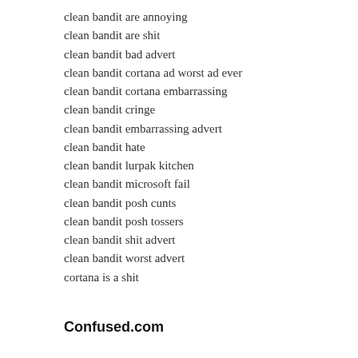clean bandit are annoying
clean bandit are shit
clean bandit bad advert
clean bandit cortana ad worst ad ever
clean bandit cortana embarrassing
clean bandit cringe
clean bandit embarrassing advert
clean bandit hate
clean bandit lurpak kitchen
clean bandit microsoft fail
clean bandit posh cunts
clean bandit posh tossers
clean bandit shit advert
clean bandit worst advert
cortana is a shit
Confused.com